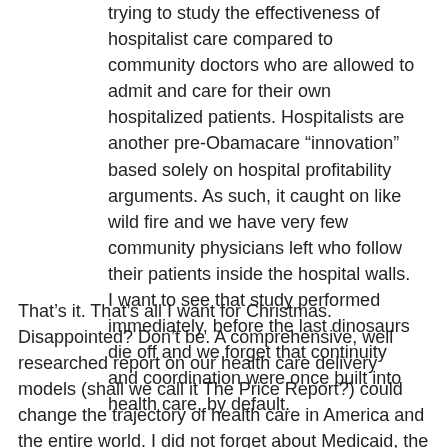trying to study the effectiveness of hospitalist care compared to community doctors who are allowed to admit and care for their own hospitalized patients. Hospitalists are another pre-Obamacare “innovation” based solely on hospital profitability arguments. As such, it caught on like wild fire and we have very few community physicians left who follow their patients inside the hospital walls. I want to see that study performed immediately, before the last dinosaurs die off and we forget that continuity and coordination were once built into health care, by default.
That’s it. That’s all I want for Christmas. Disappointed? Don’t be. A comprehensive, well researched report on our health care delivery models (shall we call it The Price Report?) could change the trajectory of health care in America and the entire world. I did not forget about Medicaid, the ludicrous deductibles, the device taxes, the pharma bidding and all those big huge things every pundit is reciting on cable news channels. These are important things of course, but they are temporary solutions at best. Single payer, if implemented